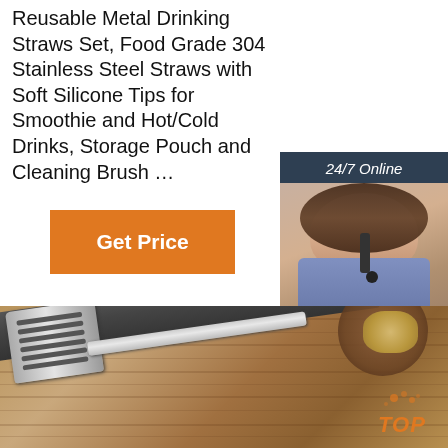Reusable Metal Drinking Straws Set, Food Grade 304 Stainless Steel Straws with Soft Silicone Tips for Smoothie and Hot/Cold Drinks, Storage Pouch and Cleaning Brush …
Get Price
24/7 Online
[Figure (photo): Woman with headset smiling, representing online customer support]
Click here for free chat !
QUOTATION
[Figure (photo): Stainless steel kitchen spatula/grater on wooden surface with potatoes in background]
TOP